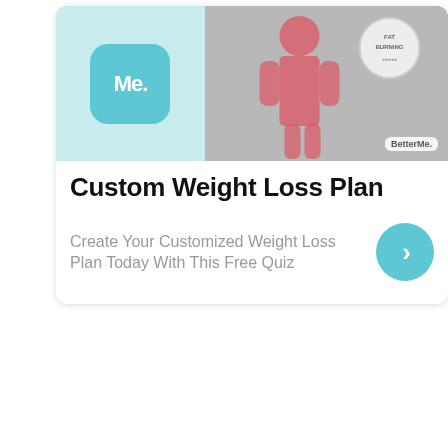[Figure (screenshot): Advertisement card for BetterMe app showing app icon with 'Me.' text on teal background on the left, and a promotional image with a person and a fat burning tracker badge on the right. A circular teal badge with a fat burning dial is visible in the upper right of the image area.]
Custom Weight Loss Plan
Create Your Customized Weight Loss Plan Today With This Free Quiz